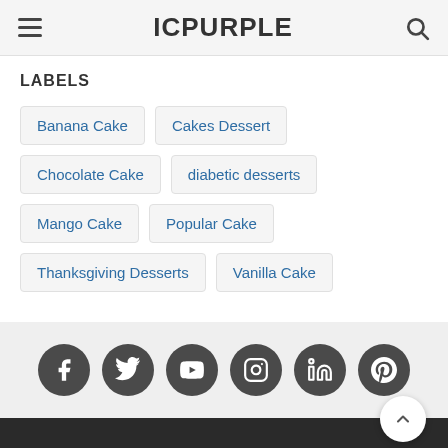ICPURPLE
LABELS
Banana Cake
Cakes Dessert
Chocolate Cake
diabetic desserts
Mango Cake
Popular Cake
Thanksgiving Desserts
Vanilla Cake
[Figure (infographic): Social media icons: Facebook, Twitter, YouTube, Instagram, LinkedIn, Pinterest — dark grey circles with white icons]
© 2020 - Icpurple